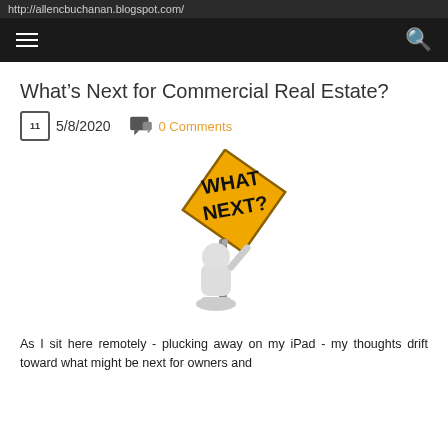http://allencbuchanan.blogspot.com/
What’s Next for Commercial Real Estate?
5/8/2020   0 Comments
[Figure (illustration): A 3D figure of a small white mannequin holding up a yellow diamond-shaped sign that reads WHAT NEXT?]
As I sit here remotely - plucking away on my iPad - my thoughts drift toward what might be next for owners and